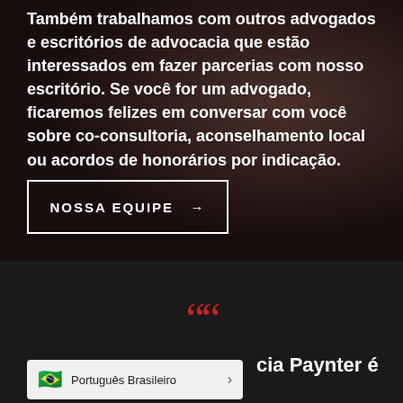Também trabalhamos com outros advogados e escritórios de advocacia que estão interessados em fazer parcerias com nosso escritório. Se você for um advogado, ficaremos felizes em conversar com você sobre co-consultoria, aconselhamento local ou acordos de honorários por indicação.
[Figure (other): Button with white border and white text reading NOSSA EQUIPE → on a dark brownish-red photographic background showing books/law books blurred]
[Figure (other): Dark section with large red quotation mark icon centered, followed by partial text about Paynter law firm]
Português Brasileiro